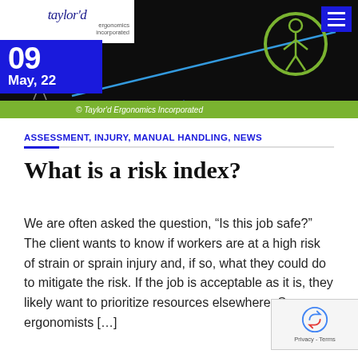[Figure (photo): Taylor'd Ergonomics Incorporated website header banner. Shows logo in white box top-left, large '09' number and 'May, 22' date in blue box, a scale/balance diagram with blue line and blue triangle on black background, green circle graphic with person figure, hamburger menu icon top-right, and green copyright bar at bottom reading '© Taylor'd Ergonomics Incorporated'.]
ASSESSMENT, INJURY, MANUAL HANDLING, NEWS
What is a risk index?
We are often asked the question, “Is this job safe?” The client wants to know if workers are at a high risk of strain or sprain injury and, if so, what they could do to mitigate the risk. If the job is acceptable as it is, they likely want to prioritize resources elsewhere. Some ergonomists …